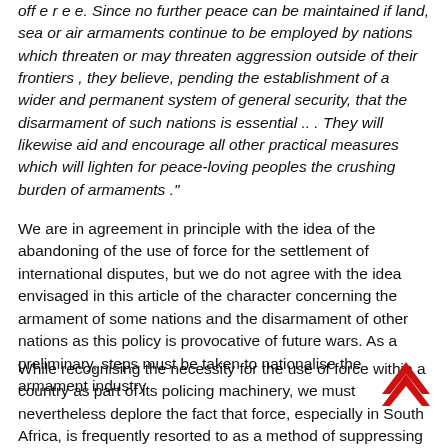off e r e e. Since no further peace can be maintained if land, sea or air armaments continue to be employed by nations which threaten or may threaten aggression outside of their frontiers , they believe, pending the establishment of a wider and permanent system of general security, that the disarmament of such nations is essential .. . They will likewise aid and encourage all other practical measures which will lighten for peace-loving peoples the crushing burden of armaments ."
We are in agreement in principle with the idea of the abandoning of the use of force for the settlement of international disputes, but we do not agree with the idea envisaged in this article of the character concerning the armament of some nations and the disarmament of other nations as this policy is provocative of future wars. As a preliminary, steps must be taken to nationalise the armament industry.
While recognising the necessity for the use of force within a country as part of its policing machinery, we must nevertheless deplore the fact that force, especially in South Africa, is frequently resorted to as a method of suppressing the legitimate ventilation of their grievances by oppressed, unarmed and